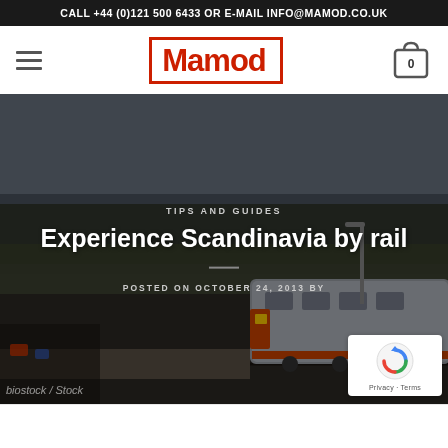CALL +44 (0)121 500 6433 OR E-MAIL INFO@MAMOD.CO.UK
[Figure (logo): Mamod brand logo in red with rectangular border]
[Figure (photo): Hero image of a train at a station with trees in background, overlaid with text: TIPS AND GUIDES, Experience Scandinavia by rail, POSTED ON OCTOBER 24, 2013 BY]
biostock / Stock
[Figure (other): Google reCAPTCHA badge with Privacy and Terms links]